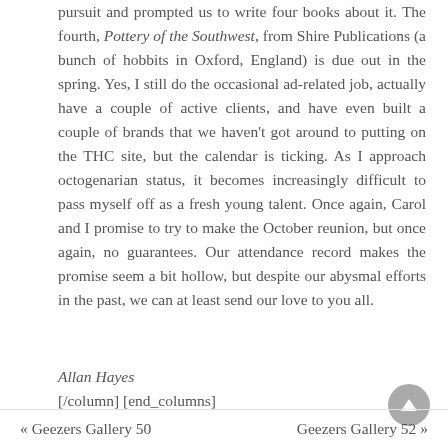pursuit and prompted us to write four books about it. The fourth, Pottery of the Southwest, from Shire Publications (a bunch of hobbits in Oxford, England) is due out in the spring. Yes, I still do the occasional ad-related job, actually have a couple of active clients, and have even built a couple of brands that we haven't got around to putting on the THC site, but the calendar is ticking. As I approach octogenarian status, it becomes increasingly difficult to pass myself off as a fresh young talent. Once again, Carol and I promise to try to make the October reunion, but once again, no guarantees. Our attendance record makes the promise seem a bit hollow, but despite our abysmal efforts in the past, we can at least send our love to you all.
Allan Hayes
[/column] [end_columns]
« Geezers Gallery 50    Geezers Gallery 52 »